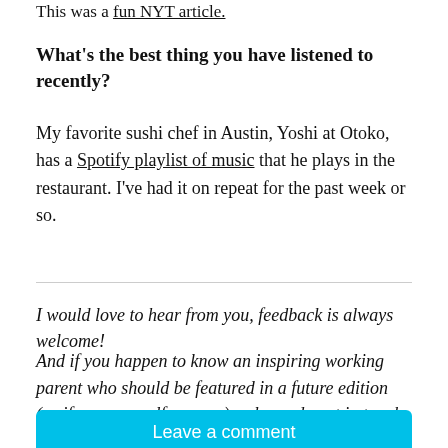This was a fun NYT article.
What's the best thing you have listened to recently?
My favorite sushi chef in Austin, Yoshi at Otoko, has a Spotify playlist of music that he plays in the restaurant. I've had it on repeat for the past week or so.
I would love to hear from you, feedback is always welcome!
And if you happen to know an inspiring working parent who should be featured in a future edition (or if you yourself are one) - please do get in touch.
Leave a comment